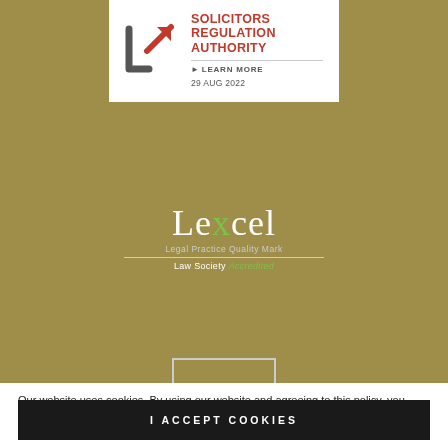[Figure (logo): Solicitors Regulation Authority logo with red arrow icon, 'SOLICITORS REGULATION AUTHORITY' text, 'LEARN MORE' link, and date '29 AUG 2022' on white card background]
[Figure (logo): Lexcel Legal Practice Quality Mark, Law Society Accredited logo in white and green on gold background]
Our website uses cookies. By using our website and agreeing to this policy, you consent to our use of cookies in accordance with the terms of this policy. If you do not consent to the use of these cookies please disable them following the instructions in this Cookie Notice so that cookies from this website cannot be placed on your device.
I ACCEPT COOKIES